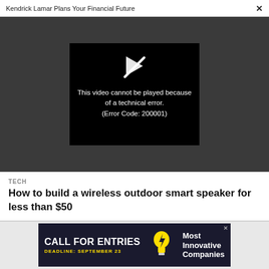Kendrick Lamar Plans Your Financial Future ×
[Figure (screenshot): Video player showing error message: 'This video cannot be played because of a technical error. (Error Code: 200001)' on black background within dark grey video area.]
TECH
How to build a wireless outdoor smart speaker for less than $50
[Figure (infographic): Advertisement banner: 'CALL FOR ENTRIES — DEADLINE: SEPTEMBER 23 — Most Innovative Companies' with light bulb icon, dark blue/navy background.]